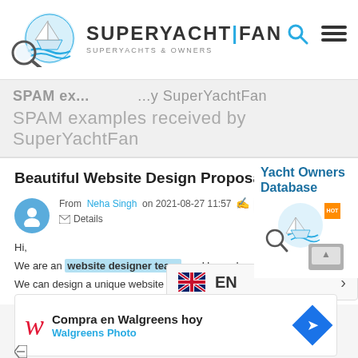[Figure (logo): SuperYachtFan logo with magnifying glass over boat and waves, text SUPERYACHT|FAN, SUPERYACHTS & OWNERS]
SPAM examples received by SuperYachtFan
Beautiful Website Design Proposal...!!!
From Neha Singh on 2021-08-27 11:57
Details nehasingh230@hotmail.com
Hi,
We are an website designer team, and have developed more than n
We can design a unique website for your organization as well for Low Cost onetime fee.
[Figure (screenshot): Walgreens advertisement: Compra en Walgreens hoy, Walgreens Photo]
[Figure (screenshot): Language selector showing EN with UK flag]
[Figure (screenshot): Yacht Owners Database advertisement with SuperYachtFan logo]